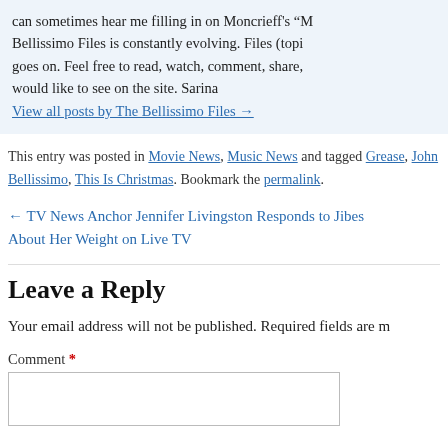can sometimes hear me filling in on Moncrieff's "M" Bellissimo Files is constantly evolving. Files (topi goes on. Feel free to read, watch, comment, share, would like to see on the site. Sarina
View all posts by The Bellissimo Files →
This entry was posted in Movie News, Music News and tagged Grease, John Bellissimo, This Is Christmas. Bookmark the permalink.
← TV News Anchor Jennifer Livingston Responds to Jibes About Her Weight on Live TV
Leave a Reply
Your email address will not be published. Required fields are m
Comment *